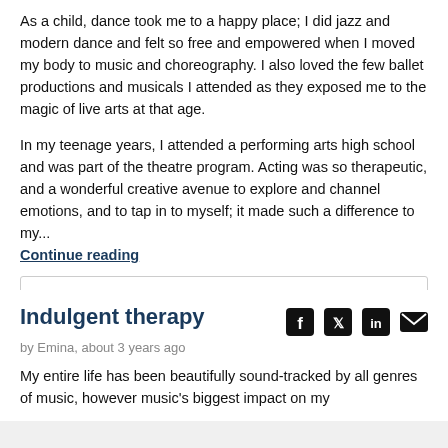As a child, dance took me to a happy place; I did jazz and modern dance and felt so free and empowered when I moved my body to music and choreography. I also loved the few ballet productions and musicals I attended as they exposed me to the magic of live arts at that age.
In my teenage years, I attended a performing arts high school and was part of the theatre program. Acting was so therapeutic, and a wonderful creative avenue to explore and channel emotions, and to tap in to myself; it made such a difference to my...
Continue reading
Write your comment
Indulgent therapy
by Emina, about 3 years ago
My entire life has been beautifully sound-tracked by all genres of music, however music's biggest impact on my